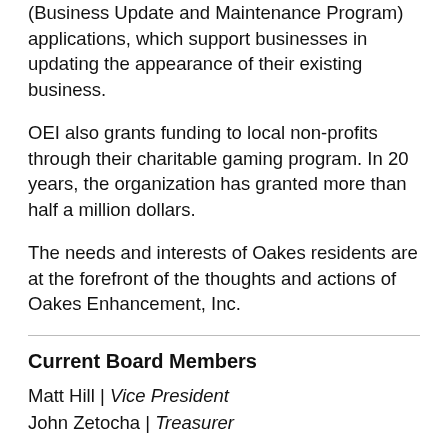(Business Update and Maintenance Program) applications, which support businesses in updating the appearance of their existing business.
OEI also grants funding to local non-profits through their charitable gaming program. In 20 years, the organization has granted more than half a million dollars.
The needs and interests of Oakes residents are at the forefront of the thoughts and actions of Oakes Enhancement, Inc.
Current Board Members
Matt Hill | Vice President
John Zetocha | Treasurer